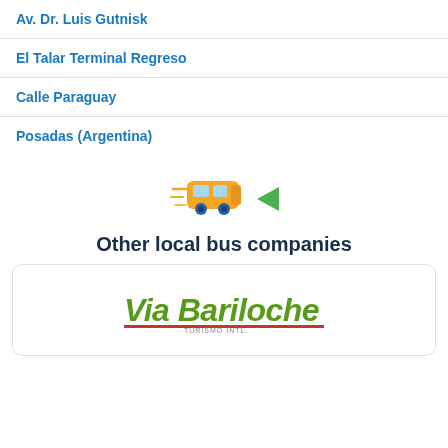Av. Dr. Luis Gutnisk
El Talar Terminal Regreso
Calle Paraguay
Posadas (Argentina)
[Figure (illustration): Bus emoji illustration with motion lines and a green arrow pointing left]
Other local bus companies
[Figure (logo): Via Bariloche logo in green and red italic text with a red underline]